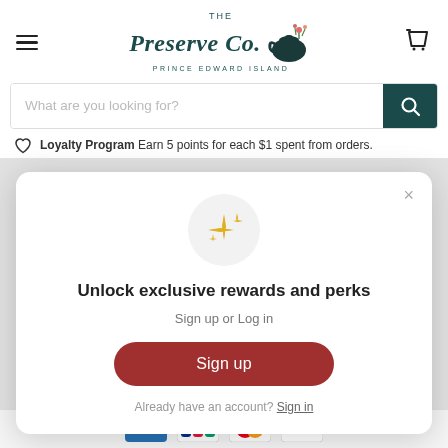[Figure (logo): The Preserve Co. Prince Edward Island logo with teapot and floral decoration]
What are you looking for?
Loyalty Program Earn 5 points for each $1 spent from orders.
[Figure (screenshot): Loyalty rewards modal popup with sparkle icon, text 'Unlock exclusive rewards and perks', 'Sign up or Log in', Sign up button, and 'Already have an account? Sign in' link]
Unlock exclusive rewards and perks
Sign up or Log in
Sign up
Already have an account? Sign in